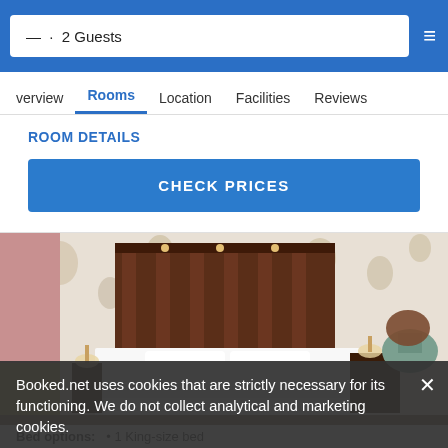— · 2 Guests
verview  Rooms  Location  Facilities  Reviews
ROOM DETAILS
CHECK PRICES
[Figure (photo): Hotel room with a king-size bed, floral wallpaper, dark wood headboard, white bedding, bedside lamps, pink curtains, and a round teal vase on a dark wood side table]
Booked.net uses cookies that are strictly necessary for its functioning. We do not collect analytical and marketing cookies.
Bed options:   • 1 King-size bed